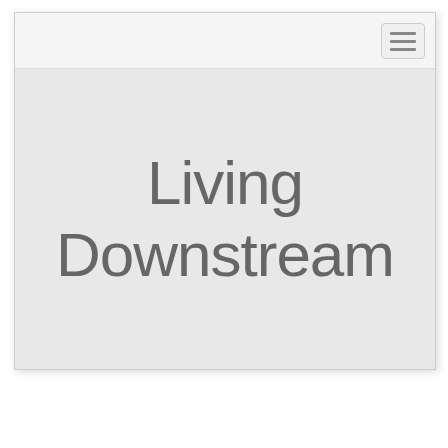[Figure (screenshot): Mobile web browser screenshot showing a navigation bar with hamburger menu icon at top right, and large title text 'Living Downstream' centered on a light gray background]
Living Downstream